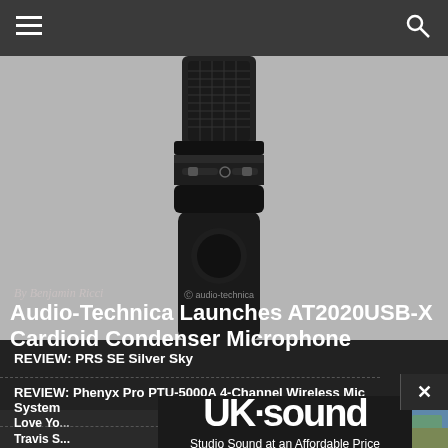[Figure (photo): Audio-Technica AT2020USB-X cardioid condenser microphone on a light gray background, showing the top mesh grille and body with controls]
By Benjamin Ricci
Audio-Technica Launches AT2020USB-X Cardioid Condenser Microphone
REVIEW: PRS SE Silver Sky
REVIEW: Phenyx Pro PTU-5000A 4-Channel Wireless Mic System
Love Yo...
Travis S... Barriers...
[Figure (logo): UK Sound logo with tagline 'Studio Sound at an Affordable Price' on dark background]